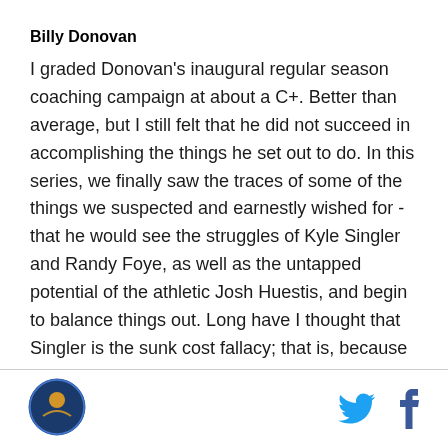Billy Donovan
I graded Donovan's inaugural regular season coaching campaign at about a C+. Better than average, but I still felt that he did not succeed in accomplishing the things he set out to do. In this series, we finally saw the traces of some of the things we suspected and earnestly wished for - that he would see the struggles of Kyle Singler and Randy Foye, as well as the untapped potential of the athletic Josh Huestis, and begin to balance things out. Long have I thought that Singler is the sunk cost fallacy; that is, because of the team's investment in him, Donovan used the entirety of the regular season to try and figure out something that
[Figure (logo): Circular logo in bottom left footer]
[Figure (logo): Twitter bird icon in footer]
[Figure (logo): Facebook f icon in footer]